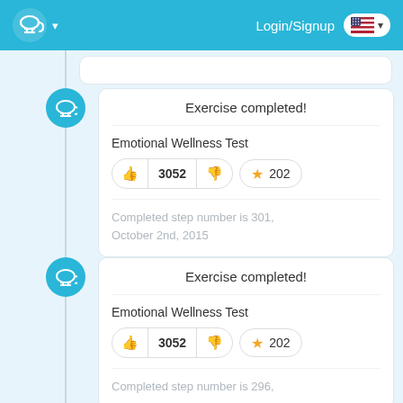Login/Signup
Exercise completed!
Emotional Wellness Test
3052  202
Completed step number is 301, October 2nd, 2015
Exercise completed!
Emotional Wellness Test
3052  202
Completed step number is 296,